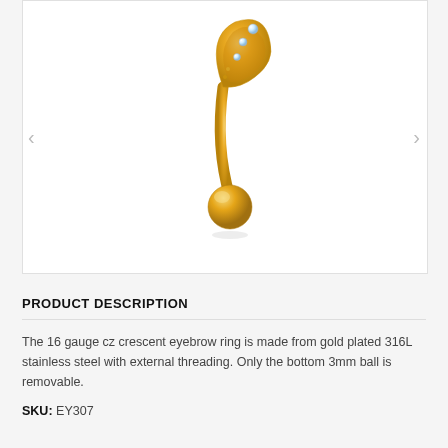[Figure (photo): Gold plated 16 gauge CZ crescent eyebrow ring with a decorative crescent top set with clear cubic zirconia stones and a gold ball at the bottom. Shown on white background with slight reflection.]
PRODUCT DESCRIPTION
The 16 gauge cz crescent eyebrow ring is made from gold plated 316L stainless steel with external threading. Only the bottom 3mm ball is removable.
SKU: EY307